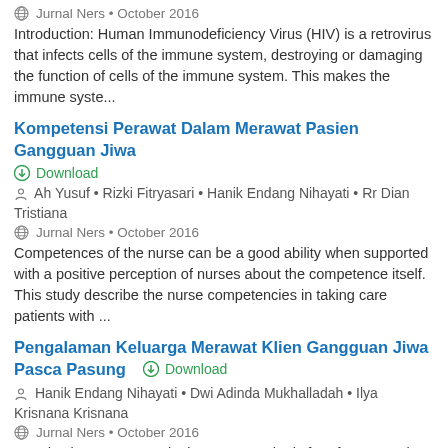Jurnal Ners • October 2016
Introduction: Human Immunodeficiency Virus (HIV) is a retrovirus that infects cells of the immune system, destroying or damaging the function of cells of the immune system. This makes the immune syste...
Kompetensi Perawat Dalam Merawat Pasien Gangguan Jiwa
Download
Ah Yusuf • Rizki Fitryasari • Hanik Endang Nihayati • Rr Dian Tristiana
Jurnal Ners • October 2016
Competences of the nurse can be a good ability when supported with a positive perception of nurses about the competence itself. This study describe the nurse competencies in taking care patients with ...
Pengalaman Keluarga Merawat Klien Gangguan Jiwa Pasca Pasung
Download
Hanik Endang Nihayati • Dwi Adinda Mukhalladah • Ilya Krisnana Krisnana
Jurnal Ners • October 2016
Introduction: Post restraint is a person who is free from restraint.